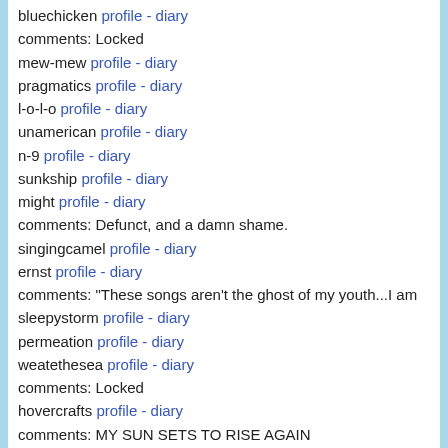bluechicken profile - diary
comments: Locked
mew-mew profile - diary
pragmatics profile - diary
l-o-l-o profile - diary
unamerican profile - diary
n-9 profile - diary
sunkship profile - diary
might profile - diary
comments: Defunct, and a damn shame.
singingcamel profile - diary
ernst profile - diary
comments: "These songs aren't the ghost of my youth...I am
sleepystorm profile - diary
permeation profile - diary
weatethesea profile - diary
comments: Locked
hovercrafts profile - diary
comments: MY SUN SETS TO RISE AGAIN
metalheart profile - diary
che profile - diary
swallowthkey profile - diary
ricka profile - diary
pools-of-red profile - diary